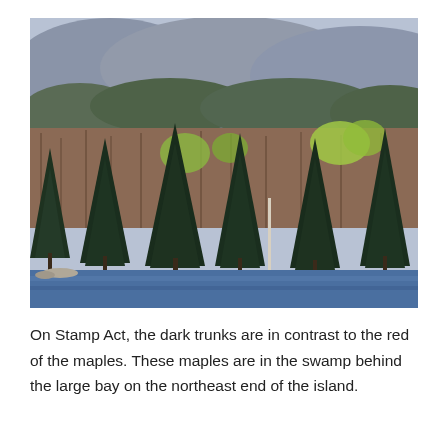[Figure (photo): A lakeside forest scene showing dark evergreen pine trees in the foreground along a blue lake shoreline, with bare deciduous trees showing reddish-brown tones behind them, light green early spring foliage, and a wooded hillside with mixed forest in the background under an overcast sky.]
On Stamp Act, the dark trunks are in contrast to the red of the maples. These maples are in the swamp behind the large bay on the northeast end of the island.